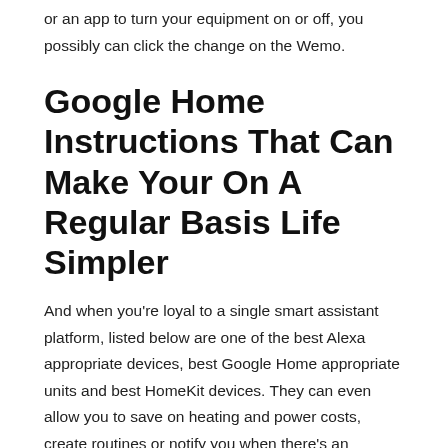or an app to turn your equipment on or off, you possibly can click the change on the Wemo.
Google Home Instructions That Can Make Your On A Regular Basis Life Simpler
And when you're loyal to a single smart assistant platform, listed below are one of the best Alexa appropriate devices, best Google Home appropriate units and best HomeKit devices. They can even allow you to save on heating and power costs, create routines or notify you when there's an emergency. The best smart home gadgets can elevate your house's IQ, from safety cameras and Wi-Fi locks to cutting edge gentle bulbs. Get solutions, play songs, tackle your day, take pleasure in your leisure and management your smart